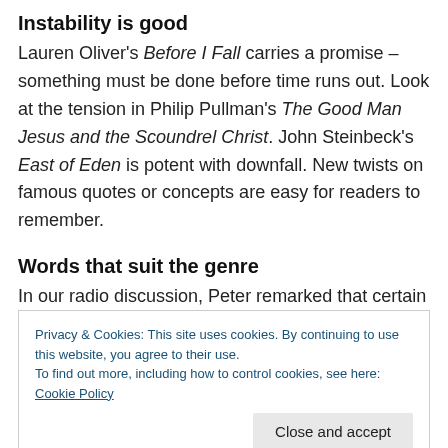Instability is good
Lauren Oliver's Before I Fall carries a promise – something must be done before time runs out. Look at the tension in Philip Pullman's The Good Man Jesus and the Scoundrel Christ. John Steinbeck's East of Eden is potent with downfall. New twists on famous quotes or concepts are easy for readers to remember.
Words that suit the genre
In our radio discussion, Peter remarked that certain words seem to embody the appeal of a genre – and mentioned
Privacy & Cookies: This site uses cookies. By continuing to use this website, you agree to their use.
To find out more, including how to control cookies, see here: Cookie Policy
friend Daniel Bra... reviewed a ... published his historical ...